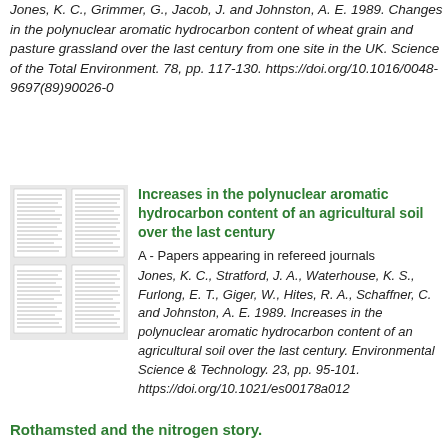Jones, K. C., Grimmer, G., Jacob, J. and Johnston, A. E. 1989. Changes in the polynuclear aromatic hydrocarbon content of wheat grain and pasture grassland over the last century from one site in the UK. Science of the Total Environment. 78, pp. 117-130. https://doi.org/10.1016/0048-9697(89)90026-0
[Figure (other): Thumbnail image of a multi-page academic document/paper]
Increases in the polynuclear aromatic hydrocarbon content of an agricultural soil over the last century
A - Papers appearing in refereed journals
Jones, K. C., Stratford, J. A., Waterhouse, K. S., Furlong, E. T., Giger, W., Hites, R. A., Schaffner, C. and Johnston, A. E. 1989. Increases in the polynuclear aromatic hydrocarbon content of an agricultural soil over the last century. Environmental Science & Technology. 23, pp. 95-101. https://doi.org/10.1021/es00178a012
Rothamsted and the nitrogen story.